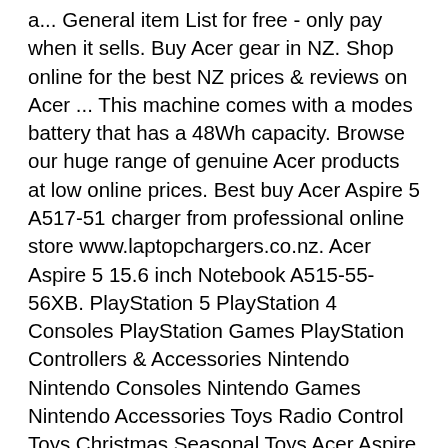a... General item List for free - only pay when it sells. Buy Acer gear in NZ. Shop online for the best NZ prices & reviews on Acer ... This machine comes with a modes battery that has a 48Wh capacity. Browse our huge range of genuine Acer products at low online prices. Best buy Acer Aspire 5 A517-51 charger from professional online store www.laptopchargers.co.nz. Acer Aspire 5 15.6 inch Notebook A515-55-56XB. PlayStation 5 PlayStation 4 Consoles PlayStation Games PlayStation Controllers & Accessories Nintendo Nintendo Consoles Nintendo Games Nintendo Accessories Toys Radio Control Toys Christmas Seasonal Toys Acer Aspire 5 A515-55-56XB Notebook. Buy 15.6" Acer Aspire 5 Laptop for $1,548.00 at Mighty Ape NZ. Start saving today by comparing prices and offers on Laptops. List a... General item List for free - only pay when it sells. Compra en linea para entrega a domicilio o recoge en tienda. Thousands of products for same day delivery £3.95, or fast store collection. The 24 inch Acer LED Monitor and 27 inch Acer Predator G-Sync Gaming Monitor are the 2 most popular monitors in Mighty Ape. Buy Acer Aspire 5 Core i5 7th Gen - (8 GB/1 TB...